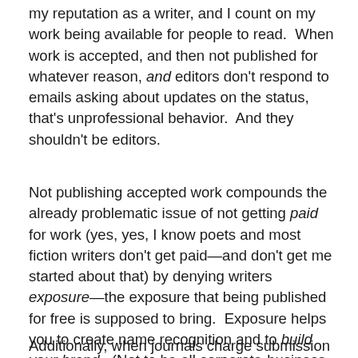my reputation as a writer, and I count on my work being available for people to read.  When work is accepted, and then not published for whatever reason, and editors don't respond to emails asking about updates on the status, that's unprofessional behavior.  And they shouldn't be editors.
Not publishing accepted work compounds the already problematic issue of not getting paid for work (yes, yes, I know poets and most fiction writers don't get paid—and don't get me started about that) by denying writers exposure—the exposure that being published for free is supposed to bring.  Exposure helps you to create name recognition and to build your brand.  (Not to be all corporate-business-speaky about it.)
Additionally, when journals charge submission fees (as